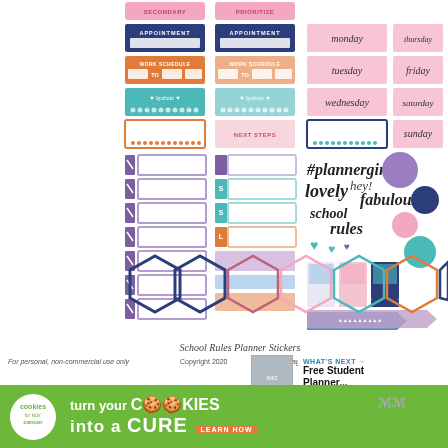[Figure (illustration): School Rules Planner Stickers sheet showing colorful planner stickers including appointment labels, work schedule labels, hydrate trackers, day of week labels (monday through sunday) on pink dotted background, script text labels (plannergirl, lovely, hey!, fabulous, school rules), checklist sticker strips, bookmark stickers, hexagon frames in various colors (navy, orange, coral, teal), and decorative circle elements in purple, navy, pink, and teal.]
School Rules Planner Stickers
For personal, non-commercial use only
Copyright 2020
Vintage Glam studio
WHAT'S NEXT → Free Student Planner...
[Figure (photo): Small thumbnail image of a student planner]
[Figure (illustration): Advertisement banner: cookies for kids cancer - turn your COOKIES into a CURE LEARN HOW]